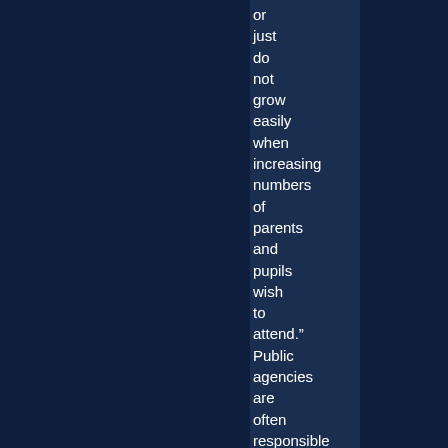or just do not grow easily when increasing numbers of parents and pupils wish to attend." Public agencies are often responsible for